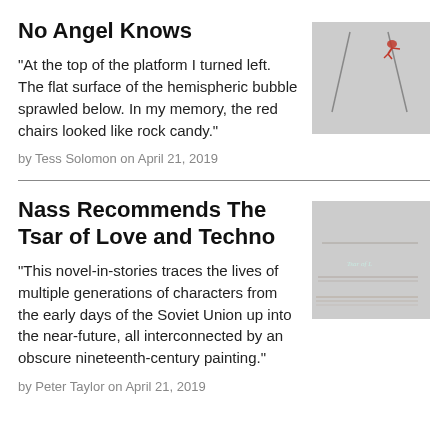No Angel Knows
“At the top of the platform I turned left. The flat surface of the hemispheric bubble sprawled below. In my memory, the red chairs looked like rock candy.”
[Figure (photo): Photo of a diver or person in mid-air near tall metal poles against a blue sky]
by Tess Solomon on April 21, 2019
Nass Recommends The Tsar of Love and Techno
“This novel-in-stories traces the lives of multiple generations of characters from the early days of the Soviet Union up into the near-future, all interconnected by an obscure nineteenth-century painting.”
[Figure (photo): Photo of a stack of old hardcover books]
by Peter Taylor on April 21, 2019